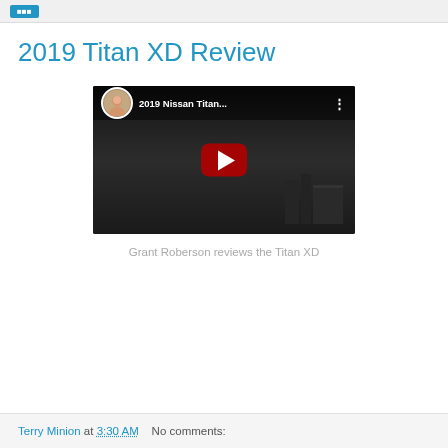2019 Titan XD Review
[Figure (screenshot): YouTube video thumbnail showing a man standing in front of a 2019 Nissan Titan XD pickup truck at night. The video title reads '2019 Nissan Titan...' with a channel avatar (man's headshot) in a circle at the top-left, a three-dot menu icon at the top-right, and a large red play button in the center.]
Grant Roberson reviews the Titan XD
Terry Minion at 3:30 AM   No comments: